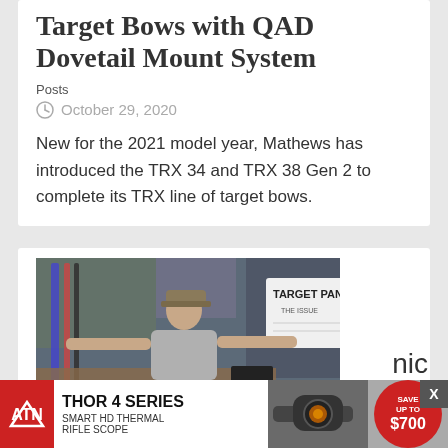Target Bows with QAD Dovetail Mount System
Posts
October 29, 2020
New for the 2021 model year, Mathews has introduced the TRX 34 and TRX 38 Gen 2 to complete its TRX line of target bows.
[Figure (photo): A man in a hat and t-shirt standing in front of a whiteboard labeled 'TARGET PANIC' in a cluttered archery shop]
Vide... nic
[Figure (advertisement): ATN Thor 4 Series Smart HD Thermal Rifle Scope advertisement with Save Up To $700 badge]